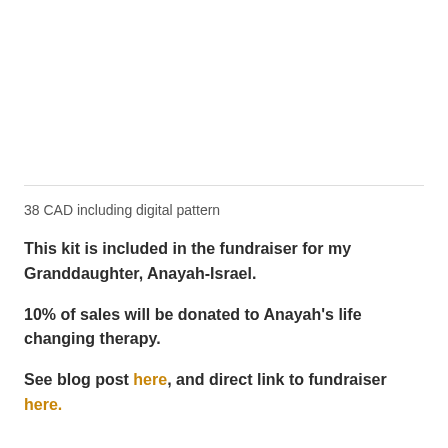38 CAD including digital pattern
This kit is included in the fundraiser for my Granddaughter, Anayah-Israel.
10% of sales will be donated to Anayah's life changing therapy.
See blog post here, and direct link to fundraiser here.